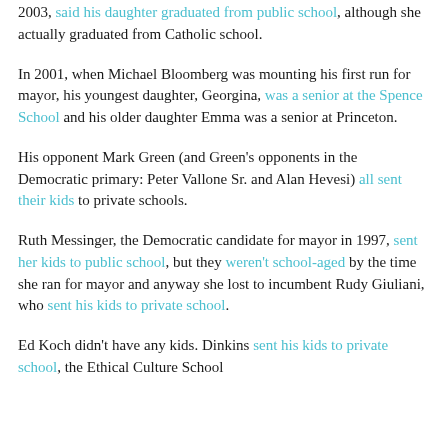2003, said his daughter graduated from public school, although she actually graduated from Catholic school.
In 2001, when Michael Bloomberg was mounting his first run for mayor, his youngest daughter, Georgina, was a senior at the Spence School and his older daughter Emma was a senior at Princeton.
His opponent Mark Green (and Green's opponents in the Democratic primary: Peter Vallone Sr. and Alan Hevesi) all sent their kids to private schools.
Ruth Messinger, the Democratic candidate for mayor in 1997, sent her kids to public school, but they weren't school-aged by the time she ran for mayor and anyway she lost to incumbent Rudy Giuliani, who sent his kids to private school.
Ed Koch didn't have any kids. Dinkins sent his kids to private school, the Ethical Culture School